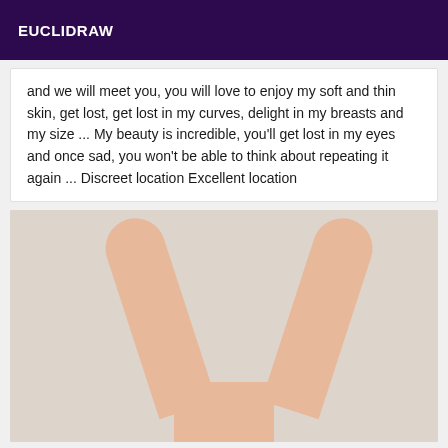EUCLIDRAW
and we will meet you, you will love to enjoy my soft and thin skin, get lost, get lost in my curves, delight in my breasts and my size ... My beauty is incredible, you'll get lost in my eyes and once sad, you won't be able to think about repeating it again ... Discreet location Excellent location
[Figure (photo): Photo of a person's arms raised forming an arch shape against a light background]